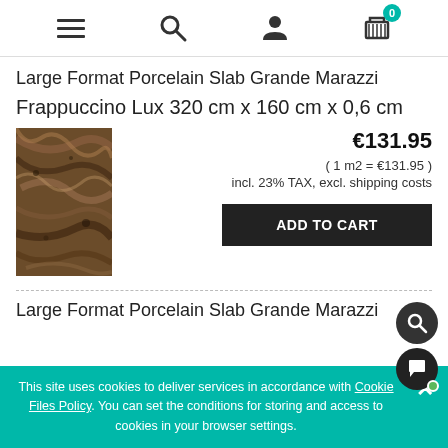[Figure (screenshot): Navigation bar with hamburger menu, search, user, and cart (0) icons]
Large Format Porcelain Slab Grande Marazzi
Frappuccino Lux 320 cm x 160 cm x 0,6 cm
[Figure (photo): Brown marble-textured porcelain slab tile product image]
€131.95
( 1 m2 = €131.95 )
incl. 23% TAX, excl. shipping costs
ADD TO CART
Large Format Porcelain Slab Grande Marazzi
This site uses cookies to deliver services in accordance with Cookie Files Policy. You can set the conditions for storing and access to cookies in your browser settings.